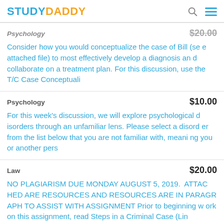STUDYDADDY
Psychology $20.00
Consider how you would conceptualize the case of Bill (see attached file) to most effectively develop a diagnosis and collaborate on a treatment plan. For this discussion, use the T/C Case Conceptuali
Psychology $10.00
For this week's discussion, we will explore psychological disorders through an unfamiliar lens. Please select a disorder from the list below that you are not familiar with, meaning you or another pers
Law $20.00
NO PLAGIARISM DUE MONDAY AUGUST 5, 2019. ATTACHED ARE RESOURCES AND RESOURCES ARE IN PARAGRAPH TO ASSIST WITH ASSIGNMENT Prior to beginning work on this assignment, read Steps in a Criminal Case (Lin